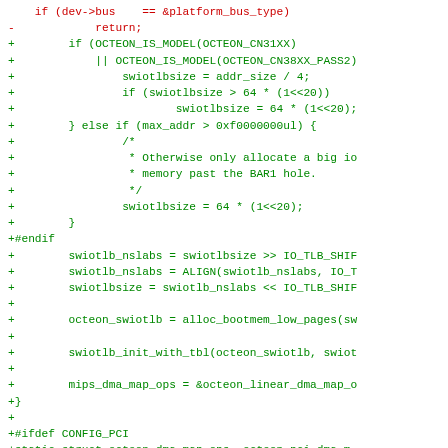[Figure (screenshot): A code diff screenshot showing additions (green lines prefixed with '+') and deletions (red lines prefixed with '-') in a C source file related to OCTEON platform DMA/swiotlb initialization. Red lines show removed 'return;' statement. Green lines show added code for OCTEON model checks, swiotlbsize calculations, swiotlb_nslabs assignments, octeon_swiotlb allocation, swiotlb_init_with_tbl call, mips_dma_map_ops assignment, closing brace, CONFIG_PCI ifdef, and octeon_pci_dma_map_ops struct definition with .dma_map_ops, .alloc_coherent, and .free_coherent fields.]